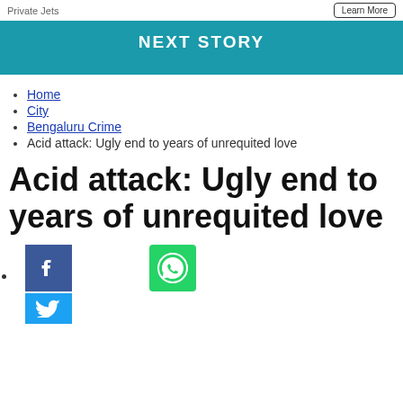Private Jets   Learn More
NEXT STORY
Home
City
Bengaluru Crime
Acid attack: Ugly end to years of unrequited love
Acid attack: Ugly end to years of unrequited love
[Figure (logo): WhatsApp share icon - green square with WhatsApp logo]
[Figure (logo): Facebook share icon - blue square with F logo]
[Figure (logo): Twitter share icon - blue rectangle with bird logo]